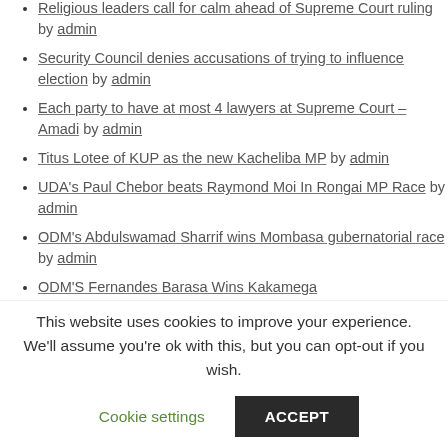Religious leaders call for calm ahead of Supreme Court ruling by admin
Security Council denies accusations of trying to influence election by admin
Each party to have at most 4 lawyers at Supreme Court – Amadi by admin
Titus Lotee of KUP as the new Kacheliba MP by admin
UDA's Paul Chebor beats Raymond Moi In Rongai MP Race by admin
ODM's Abdulswamad Sharrif wins Mombasa gubernatorial race by admin
ODM'S Fernandes Barasa Wins Kakamega
This website uses cookies to improve your experience. We'll assume you're ok with this, but you can opt-out if you wish.
Cookie settings | ACCEPT